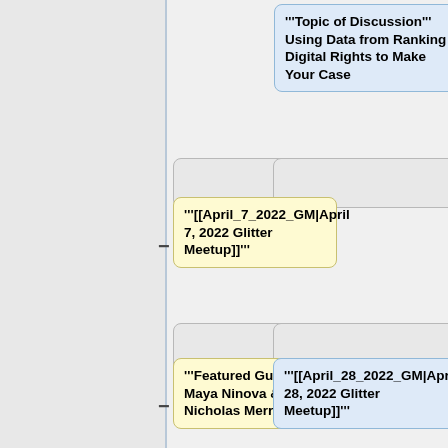[Figure (flowchart): Wiki-style flowchart/mind-map showing nodes connected by + and - symbols. Blue node at top right: "'Topic of Discussion''' Using Data from Ranking Digital Rights to Make Your Case". Gray connector boxes below. Yellow node: "'[[April_7_2022_GM|April 7, 2022 Glitter Meetup]]'". Another row of gray boxes. Yellow node: "'Featured Guest'' Maya Ninova & Nicholas Merrill". Blue node: "'[[April_28_2022_GM|April 28, 2022 Glitter Meetup]]'". More gray boxes. Yellow node partial: "'Topic of". Blue node partial: "'Featured".]